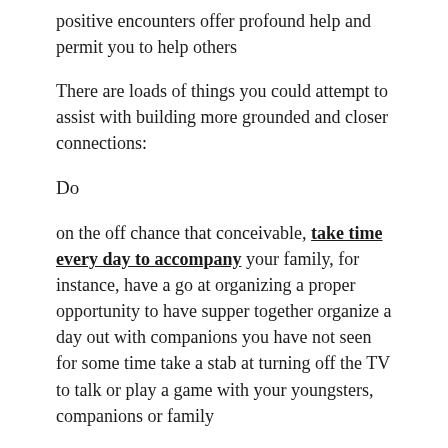positive encounters offer profound help and permit you to help others
There are loads of things you could attempt to assist with building more grounded and closer connections:
Do
on the off chance that conceivable, take time every day to accompany your family, for instance, have a go at organizing a proper opportunity to have supper together organize a day out with companions you have not seen for some time take a stab at turning off the TV to talk or play a game with your youngsters, companions or family
Take advantage of innovation to keep in contact with loved ones. Video-talk applications like Skype and FaceTime are valuable, particularly assuming that you live